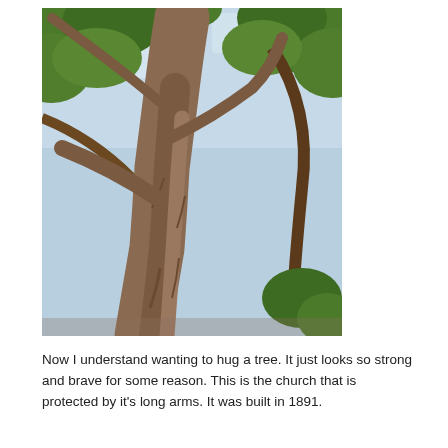[Figure (photo): An upward-looking photograph of a large old tree with thick gnarled trunk and spreading branches covered in green leaves, photographed from below looking up toward the sky.]
Now I understand wanting to hug a tree. It just looks so strong and brave for some reason. This is the church that is protected by it's long arms. It was built in 1891.